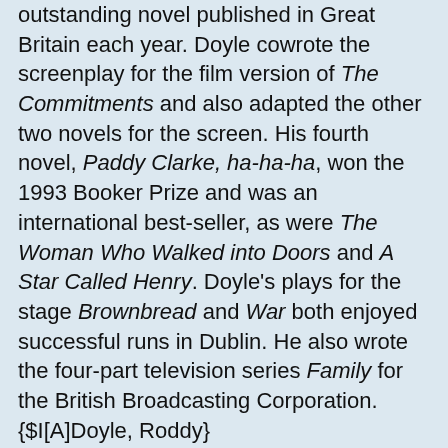outstanding novel published in Great Britain each year. Doyle cowrote the screenplay for the film version of The Commitments and also adapted the other two novels for the screen. His fourth novel, Paddy Clarke, ha-ha-ha, won the 1993 Booker Prize and was an international best-seller, as were The Woman Who Walked into Doors and A Star Called Henry. Doyle's plays for the stage Brownbread and War both enjoyed successful runs in Dublin. He also wrote the four-part television series Family for the British Broadcasting Corporation.{$I[A]Doyle, Roddy} {$I[geo]IRELAND;Doyle, Roddy} {$I[tim]1958;Doyle, Roddy}
Doyle's first novel, The Commitments, follows a working-class band's struggle to bring soul